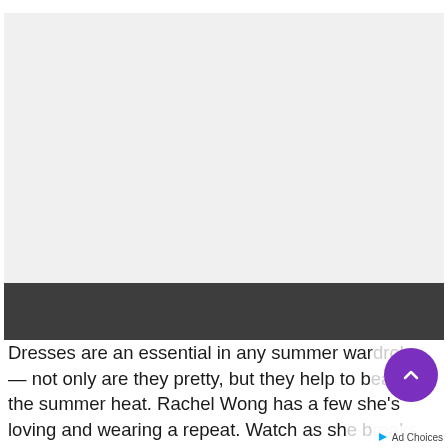[Figure (photo): Light gray placeholder rectangle representing an image area, approximately the top two-thirds of the visible content area. Lower portion has a dark gray overlay strip.]
Dresses are an essential in any summer wardrobe — not only are they pretty, but they help to beat the summer heat. Rachel Wong has a few she's loving and wearing a repeat. Watch as she breaks